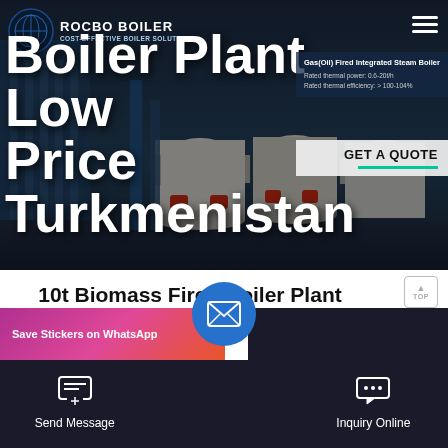[Figure (screenshot): Hero banner of Rocbo Boiler website showing industrial boiler equipment with logo and navigation]
Boiler Plant Low Price Turkmenistan
Gas(Oil) Fired Integrated Steam Boiler
GET A QUOTE
10t Biomass Fired Boiler Plant Low Price Turkmenistan
Save Stickers on WhatsApp
Send Message
Inquiry Online